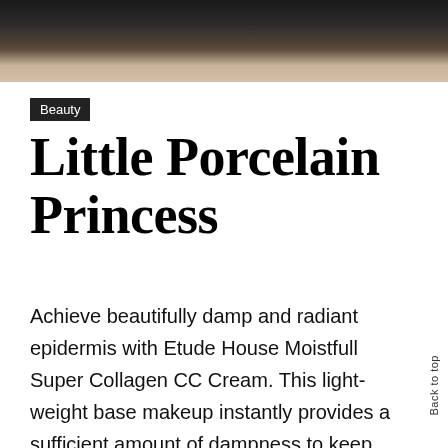[Figure (photo): Cropped photo of a person with blonde hair against a dark background, only the lower face/neck area visible at the top of the page.]
Beauty
Little Porcelain Princess
Achieve beautifully damp and radiant epidermis with Etude House Moistfull Super Collagen CC Cream. This light-weight base makeup instantly provides a sufficient amount of dampness to keep the skin properly hydrated all during the day. It includes high collagen content plus a rich blend of natural herbal oils, which improves the skin's